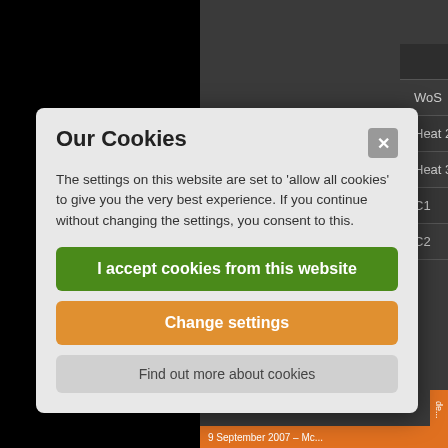|  | 1st |
| --- | --- |
| WoS | 606 |
| Heat 2 | 84 |
| Heat 3 | 554 |
| C1 | 744 |
| C2 | 145 |
Our Cookies
The settings on this website are set to 'allow all cookies' to give you the very best experience. If you continue without changing the settings, you consent to this.
I accept cookies from this website
Change settings
Find out more about cookies